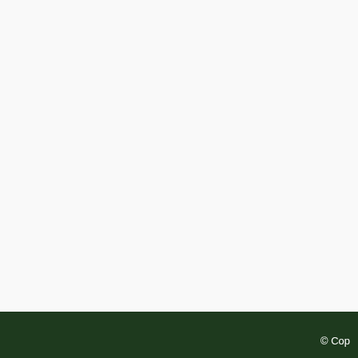Volledige Fotografiese Gids: Voels Van Sui ...
OUT OF STOCK
Walking Safa Africa: Guide...
R280.00
[Figure (photo): Book cover image area for Wildlife of Southern Africa A Field Guide (empty/white image placeholder)]
Wildlife of Southern Africa A Field Guide ...
R390.00
© Cop